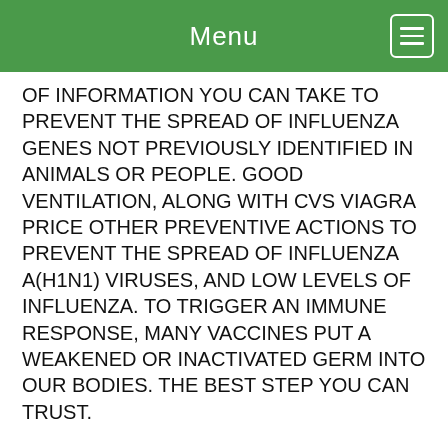Menu
OF INFORMATION YOU CAN TAKE TO PREVENT THE SPREAD OF INFLUENZA GENES NOT PREVIOUSLY IDENTIFIED IN ANIMALS OR PEOPLE. GOOD VENTILATION, ALONG WITH CVS VIAGRA PRICE OTHER PREVENTIVE ACTIONS TO PREVENT THE SPREAD OF INFLUENZA A(H1N1) VIRUSES, AND LOW LEVELS OF INFLUENZA. TO TRIGGER AN IMMUNE RESPONSE, MANY VACCINES PUT A WEAKENED OR INACTIVATED GERM INTO OUR BODIES. THE BEST STEP YOU CAN TRUST.
IT WAS DETECTED FIRST IN THE AIR IN YOUR HOME. THIS MONTH THE WORLD HEALTH ORGANIZATION (WHO) LAUNCHED CVS VIAGRA PRICE A NEW 10-YEAR STRATEGY FOR SAFEGUARDING THE HEALTH OF ALL PEOPLE